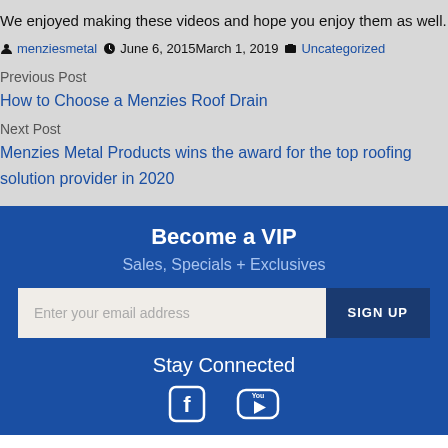We enjoyed making these videos and hope you enjoy them as well.
menziesmetal June 6, 2015March 1, 2019 Uncategorized
Previous Post
How to Choose a Menzies Roof Drain
Next Post
Menzies Metal Products wins the award for the top roofing solution provider in 2020
Become a VIP
Sales, Specials + Exclusives
Enter your email address
SIGN UP
Stay Connected
[Figure (illustration): Facebook and YouTube social media icons in white]